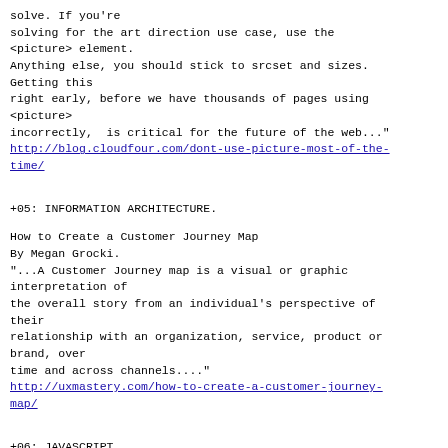solve. If you're
solving for the art direction use case, use the
<picture> element.
Anything else, you should stick to srcset and sizes.
Getting this
right early, before we have thousands of pages using
<picture>
incorrectly,  is critical for the future of the web..."
http://blog.cloudfour.com/dont-use-picture-most-of-the-time/
+05: INFORMATION ARCHITECTURE.
How to Create a Customer Journey Map
By Megan Grocki.
"...A Customer Journey map is a visual or graphic
interpretation of
the overall story from an individual's perspective of
their
relationship with an organization, service, product or
brand, over
time and across channels...."
http://uxmastery.com/how-to-create-a-customer-journey-map/
+06: JAVASCRIPT.
ECMAScript 6 Promises (1/2) - Foundations